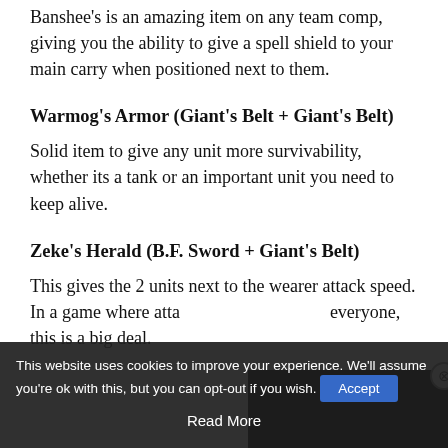Banshee's is an amazing item on any team comp, giving you the ability to give a spell shield to your main carry when positioned next to them.
Warmog's Armor (Giant's Belt + Giant's Belt)
Solid item to give any unit more survivability, whether its a tank or an important unit you need to keep alive.
Zeke's Herald (B.F. Sword + Giant's Belt)
This gives the 2 units next to the wearer attack speed. In a game where atta everyone, this is a big deal.
Zephyr (Giant's Belt + Nega
Zephyr is the most positioning... game. With good posi you can Zephyr a specific target and completely ban on the extreme...
This website uses cookies to impro you're ok with this, but you can opt-out if you wish.